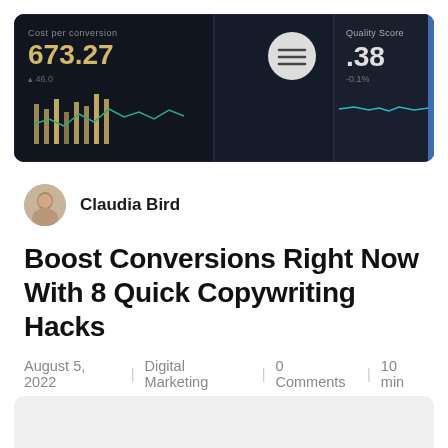[Figure (screenshot): Dashboard screenshot showing financial charts and metrics including '673.27' and 'Quality Score .38' and '-0.1%' with candlestick/line charts on dark background]
Claudia Bird
Boost Conversions Right Now With 8 Quick Copywriting Hacks
August 5, 2022 | Digital Marketing | 0 Comments | 10 min
How do you ask someone to do you a favor? Or tell your kids to clean their rooms? The way you...